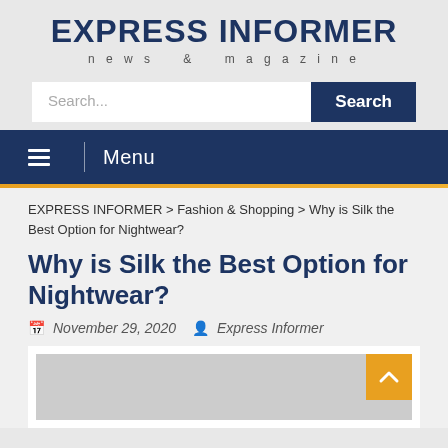EXPRESS INFORMER
news & magazine
Search...
Menu
EXPRESS INFORMER > Fashion & Shopping > Why is Silk the Best Option for Nightwear?
Why is Silk the Best Option for Nightwear?
November 29, 2020   Express Informer
[Figure (photo): Article header image showing women in silk nightwear]